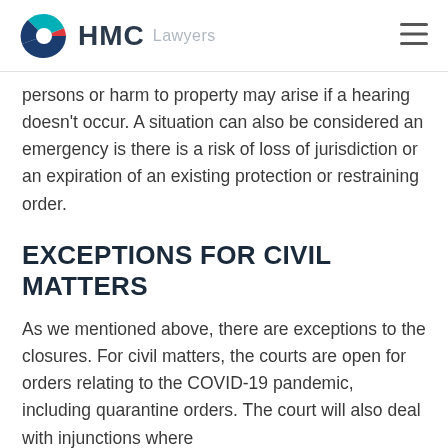HMC Lawyers
persons or harm to property may arise if a hearing doesn't occur. A situation can also be considered an emergency is there is a risk of loss of jurisdiction or an expiration of an existing protection or restraining order.
EXCEPTIONS FOR CIVIL MATTERS
As we mentioned above, there are exceptions to the closures. For civil matters, the courts are open for orders relating to the COVID-19 pandemic, including quarantine orders. The court will also deal with injunctions where